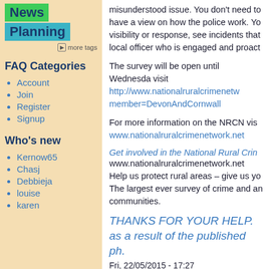[Figure (other): Tag buttons: 'News' in green, 'Planning' in teal/blue]
more tags
FAQ Categories
Account
Join
Register
Signup
Who's new
Kernow65
Chasj
Debbieja
louise
karen
misunderstood issue. You don't need to have a view on how the police work. Yo visibility or response, see incidents that local officer who is engaged and proact
The survey will be open until Wednesda visit http://www.nationalruralcrimenetw member=DevonAndCornwall
For more information on the NRCN vis www.nationalruralcrimenetwork.net
Get involved in the National Rural Crin www.nationalruralcrimenetwork.net Help us protect rural areas – give us yo The largest ever survey of crime and an communities.
THANKS FOR YOUR HELP. as a result of the published ph.
Fri, 22/05/2015 - 17:27
THANKS FOR YOUR HELP.